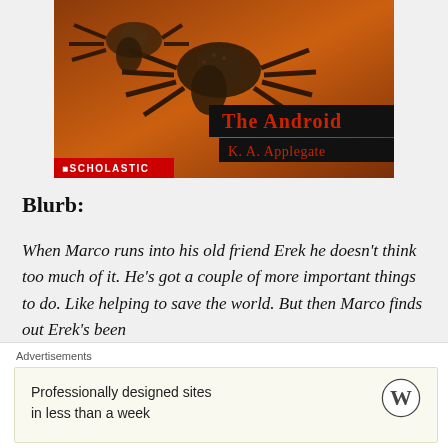[Figure (photo): Book cover of 'The Android' by K. A. Applegate, published by Scholastic. Features large tarantula spiders on an orange/brown background. Title displayed in red on black banner, author name in red on black banner below, Scholastic logo in white on red bar at bottom left.]
Blurb:
When Marco runs into his old friend Erek he doesn't think too much of it. He's got a couple of more important things to do. Like helping to save the world. But then Marco finds out Erek's been
Advertisements
Professionally designed sites in less than a week